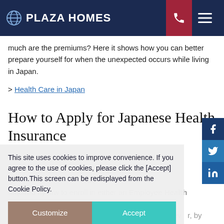PLAZA HOMES
much are the premiums? Here it shows how you can better prepare yourself for when the unexpected occurs while living in Japan.
> Health Care in Japan
How to Apply for Japanese Health Insurance
There are two types of health insurance available to ... country – ... are required by law to enroll in either an Employee Health Insurance (kenko hoken) or the National Health Insurance (kokumin kenko hoken). However, by an agreement with certain countries, this enrollment
This site uses cookies to improve convenience. If you agree to the use of cookies, please click the [Accept] button.This screen can be redisplayed from the Cookie Policy.